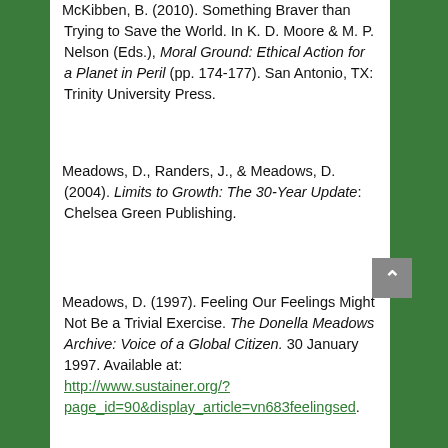McKibben, B. (2010). Something Braver than Trying to Save the World. In K. D. Moore & M. P. Nelson (Eds.), Moral Ground: Ethical Action for a Planet in Peril (pp. 174-177). San Antonio, TX: Trinity University Press.
Meadows, D., Randers, J., & Meadows, D. (2004). Limits to Growth: The 30-Year Update: Chelsea Green Publishing.
Meadows, D. (1997). Feeling Our Feelings Might Not Be a Trivial Exercise. The Donella Meadows Archive: Voice of a Global Citizen. 30 January 1997. Available at: http://www.sustainer.org/?page_id=90&display_article=vn683feelingsed.
Meinshausen, M., Meinshausen, N., Hare, W., et al.